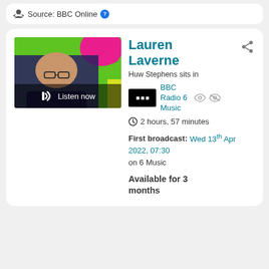Source: BBC Online
[Figure (screenshot): BBC radio programme listing card for Lauren Laverne show with thumbnail image and programme details]
Lauren Laverne
Huw Stephens sits in
BBC Radio 6 Music
2 hours, 57 minutes
First broadcast: Wed 13th Apr 2022, 07:30 on 6 Music
Available for 3 months